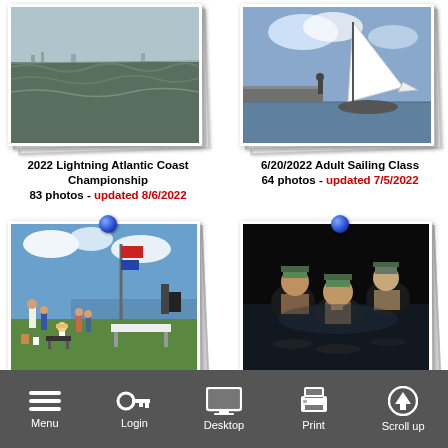[Figure (photo): Photo album thumbnail: 2022 Lightning Atlantic Coast Championship - choppy water with distant sailboats]
[Figure (photo): Photo album thumbnail: 6/20/2022 Adult Sailing Class - sailboat on dock/water]
2022 Lightning Atlantic Coast Championship
83 photos - updated 8/6/2022
6/20/2022 Adult Sailing Class
64 photos - updated 7/5/2022
[Figure (photo): Photo album thumbnail: David Ruiter Award - outdoor sailing club gathering on grass]
[Figure (photo): Photo album thumbnail: Junior Club Champions Lightning - people in dark water at night]
David Ruiter Award
15 photos - updated 4/10/2022
Junior Club Champions Lightning
59 photos - updated 8/19/2021
Menu  Login  Desktop  Print  Scroll up